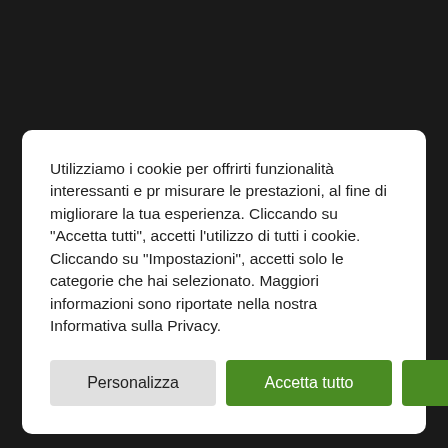Utilizziamo i cookie per offrirti funzionalità interessanti e pr misurare le prestazioni, al fine di migliorare la tua esperienza. Cliccando su "Accetta tutti", accetti l'utilizzo di tutti i cookie. Cliccando su "Impostazioni", accetti solo le categorie che hai selezionato. Maggiori informazioni sono riportate nella nostra Informativa sulla Privacy.
Personalizza
Accetta tutto
Rifiuta